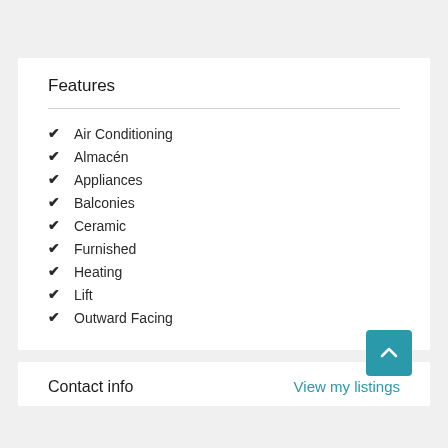Features
Air Conditioning
Almacén
Appliances
Balconies
Ceramic
Furnished
Heating
Lift
Outward Facing
Contact info
View my listings